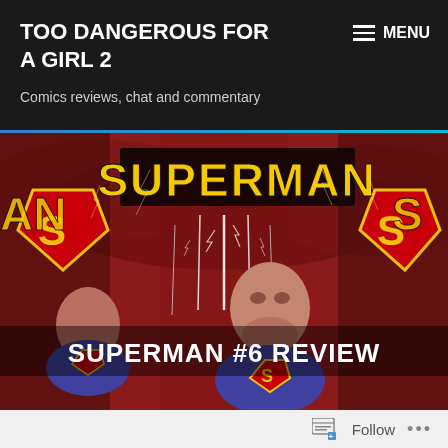TOO DANGEROUS FOR A GIRL 2
Comics reviews, chat and commentary
≡ MENU
[Figure (illustration): Superman comic book cover showing Superman (and possibly a duplicate) looking upward with lightning beams, red stormy sky background, 'SUPERMAN' text in large yellow letters at top, Superman shield logos visible on sides]
SUPERMAN #6 REVIEW
Follow  ...